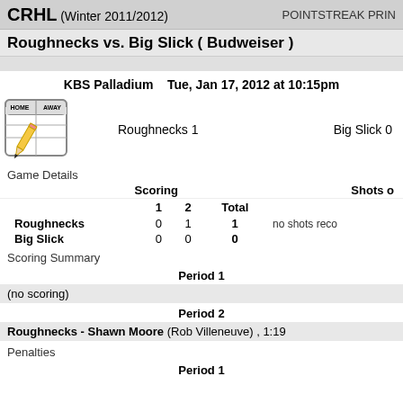CRHL (Winter 2011/2012)   POINTSTEAK PRIN
Roughnecks vs. Big Slick ( Budweiser )
KBS Palladium   Tue, Jan 17, 2012 at 10:15pm
Roughnecks 1   Big Slick 0
Game Details
|  | 1 | 2 | Total | Shots |
| --- | --- | --- | --- | --- |
| Roughnecks | 0 | 1 | 1 | no shots reco |
| Big Slick | 0 | 0 | 0 |  |
Scoring Summary
Period 1
(no scoring)
Period 2
Roughnecks - Shawn Moore (Rob Villeneuve) , 1:19
Penalties
Period 1